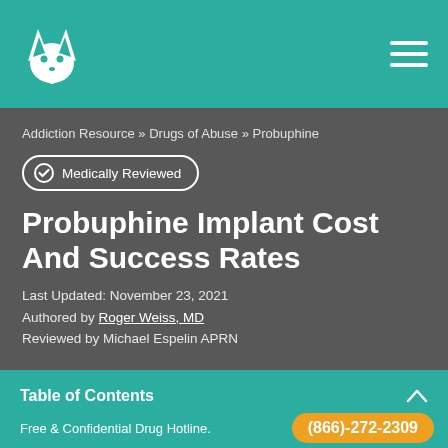Addiction Resource
Addiction Resource » Drugs of Abuse » Probuphine
Medically Reviewed
Probuphine Implant Cost And Success Rates
Last Updated: November 23, 2021
Authored by Roger Weiss, MD
Reviewed by Michael Espelin APRN
Table of Contents
Free & Confidential Drug Hotline. (866)-272-2309